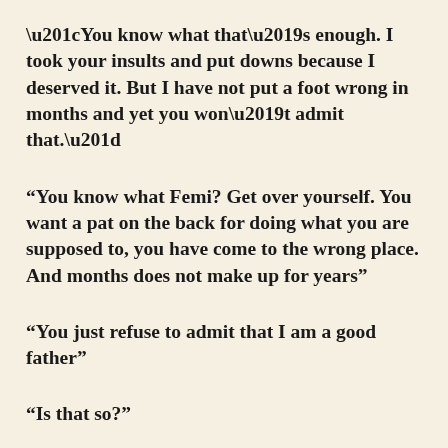“You know what that’s enough. I took your insults and put downs because I deserved it. But I have not put a foot wrong in months and yet you won’t admit that.”
“You know what Femi? Get over yourself. You want a pat on the back for doing what you are supposed to, you have come to the wrong place. And months does not make up for years”
“You just refuse to admit that I am a good father”
“Is that so?”